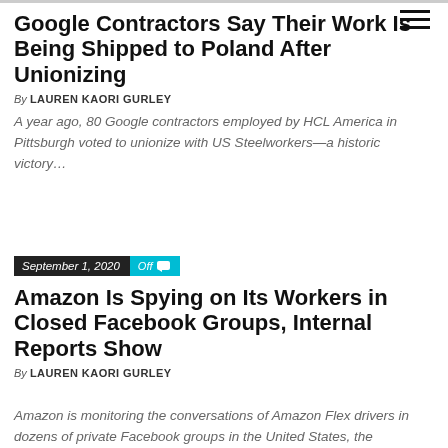≡
Google Contractors Say Their Work Is Being Shipped to Poland After Unionizing
By LAUREN KAORI GURLEY
A year ago, 80 Google contractors employed by HCL America in Pittsburgh voted to unionize with US Steelworkers—a historic victory…
September 1, 2020  Off
Amazon Is Spying on Its Workers in Closed Facebook Groups, Internal Reports Show
By LAUREN KAORI GURLEY
Amazon is monitoring the conversations of Amazon Flex drivers in dozens of private Facebook groups in the United States, the